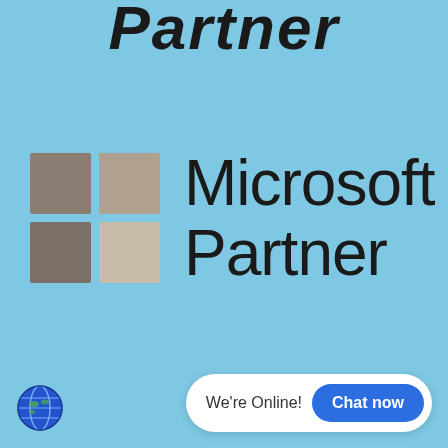Partner
[Figure (logo): Microsoft Partner logo with four grayscale/taupe squares in a 2x2 grid and the text 'Microsoft Partner' in dark gray]
[Figure (other): Globe icon (world/internet icon) in blue and green tones]
We're Online!  Chat now